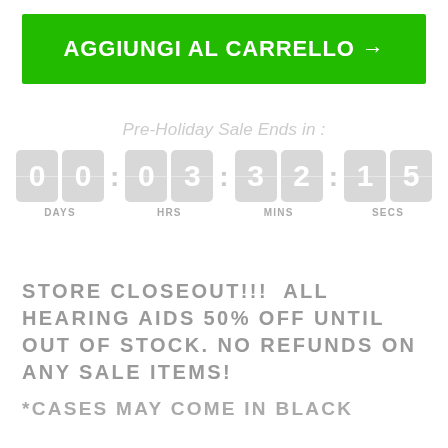AGGIUNGI AL CARRELLO →
Pre-Holiday Sale Ends in :
[Figure (other): Countdown timer showing 00:03:32:15 with labels DAYS, HRS, MINS, SECS]
STORE CLOSEOUT!!!  ALL HEARING AIDS 50% OFF UNTIL OUT OF STOCK. NO REFUNDS ON ANY SALE ITEMS!
*CASES MAY COME IN BLACK